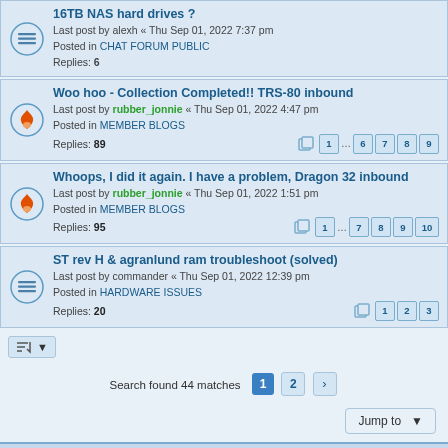16TB NAS hard drives ? — Last post by alexh « Thu Sep 01, 2022 7:37 pm — Posted in CHAT FORUM PUBLIC — Replies: 6
Woo hoo - Collection Completed!! TRS-80 inbound — Last post by rubber_jonnie « Thu Sep 01, 2022 4:47 pm — Posted in MEMBER BLOGS — Replies: 89 — Pages: 1 ... 6 7 8 9
Whoops, I did it again. I have a problem, Dragon 32 inbound — Last post by rubber_jonnie « Thu Sep 01, 2022 1:51 pm — Posted in MEMBER BLOGS — Replies: 95 — Pages: 1 ... 7 8 9 10
ST rev H & agranlund ram troubleshoot (solved) — Last post by commander « Thu Sep 01, 2022 12:39 pm — Posted in HARDWARE ISSUES — Replies: 20 — Pages: 1 2 3
Search found 44 matches — Page 1 2 >
Jump to
Board index | Delete cookies | All times are UTC+01:00 | Powered by phpBB® Forum Software © phpBB Limited